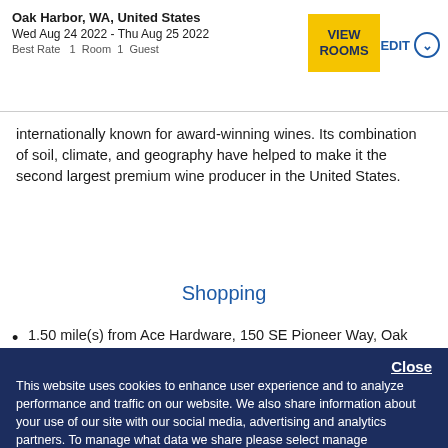Oak Harbor, WA, United States
Wed Aug 24 2022 - Thu Aug 25 2022
Best Rate  1  Room  1  Guest
internationally known for award-winning wines. Its combination of soil, climate, and geography have helped to make it the second largest premium wine producer in the United States.
Shopping
1.50 mile(s) from Ace Hardware, 150 SE Pioneer Way, Oak
Close
This website uses cookies to enhance user experience and to analyze performance and traffic on our website. We also share information about your use of our site with our social media, advertising and analytics partners. To manage what data we share please select manage preferences. Privacy Policy
Manage Preferences